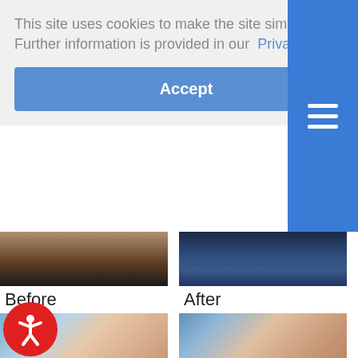This site uses cookies to make the site simpler. Further information is provided in our Privacy Policy
Accept
[Figure (photo): Before photo: neck and upper chest area of patient, dark background]
Before
[Figure (photo): After photo: patient waist area wearing jeans]
After
[Figure (photo): Before photo: breast augmentation before image, oblique view, blue background]
[Figure (photo): After photo: breast augmentation after image, oblique view, blue background]